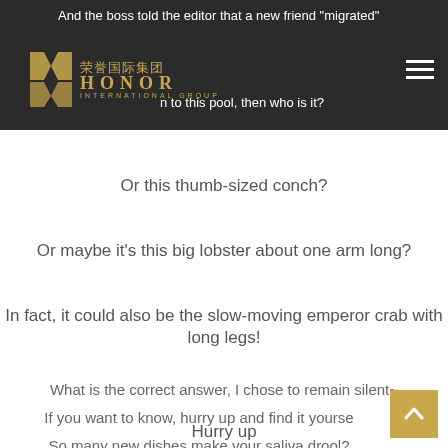And the boss told the editor that a new friend "migrated" ... to this pool, then who is it?
Or this thumb-sized conch?
Or maybe it's this big lobster about one arm long?
In fact, it could also be the slow-moving emperor crab with long legs!
What is the correct answer, I chose to remain silent~
If you want to know, hurry up and find it yourself~
So many new dishes make your saliva drool?
Hurry up